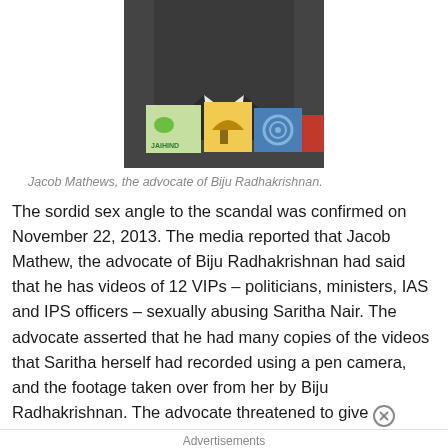[Figure (photo): Jacob Mathews, the advocate of Biju Radhakrishnan, speaking at a press conference with microphones and media logos in front of him.]
Jacob Mathews, the advocate of Biju Radhakrishnan.
The sordid sex angle to the scandal was confirmed on November 22, 2013. The media reported that Jacob Mathew, the advocate of Biju Radhakrishnan had said that he has videos of 12 VIPs – politicians, ministers, IAS and IPS officers – sexually abusing Saritha Nair. The advocate asserted that he had many copies of the videos that Saritha herself had recorded using a pen camera, and the footage taken over from her by Biju Radhakrishnan. The advocate threatened to give
Advertisements